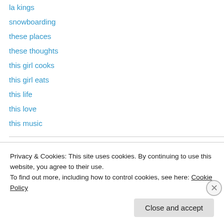la kings
snowboarding
these places
these thoughts
this girl cooks
this girl eats
this life
this love
this music
when?
November 2021
Privacy & Cookies: This site uses cookies. By continuing to use this website, you agree to their use.
To find out more, including how to control cookies, see here: Cookie Policy